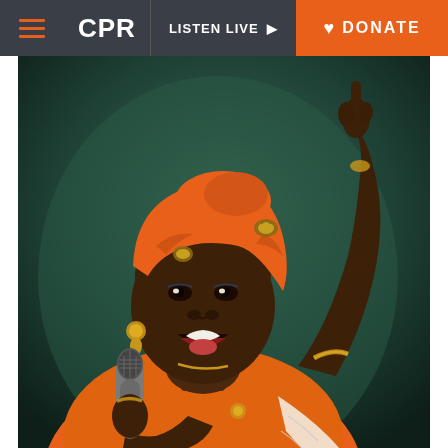CPR | LISTEN LIVE | DONATE
[Figure (photo): A woman wearing an orange headwrap and orange outfit singing passionately into a microphone while pointing one finger upward. She is wearing gold earrings and jewelry. The background is dark teal/green bokeh.]